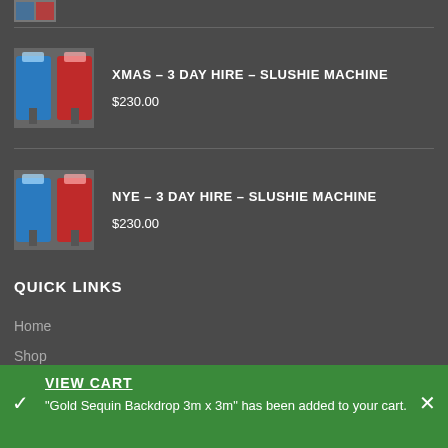[Figure (photo): Partial product image cut off at top of page]
[Figure (photo): Slushie machine product image with blue and red drinks]
XMAS – 3 DAY HIRE – SLUSHIE MACHINE
$230.00
[Figure (photo): Slushie machine product image with blue and red drinks]
NYE – 3 DAY HIRE – SLUSHIE MACHINE
$230.00
QUICK LINKS
Home
Shop
Gallery
VIEW CART
"Gold Sequin Backdrop 3m x 3m" has been added to your cart.